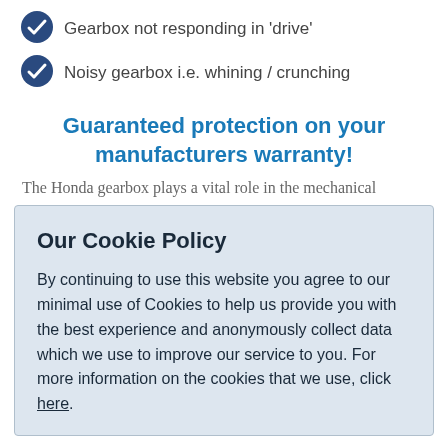Gearbox not responding in 'drive'
Noisy gearbox i.e. whining / crunching
Guaranteed protection on your manufacturers warranty!
The Honda gearbox plays a vital role in the mechanical
Our Cookie Policy
By continuing to use this website you agree to our minimal use of Cookies to help us provide you with the best experience and anonymously collect data which we use to improve our service to you. For more information on the cookies that we use, click here.
I understand
Computer diagnosis available